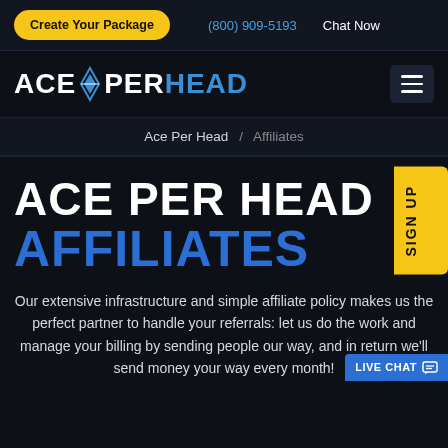Create Your Package | (800) 909-5193 | Chat Now
[Figure (logo): Ace Per Head logo with diamond icon, white and blue text on dark background]
Ace Per Head / Affiliates
ACE PER HEAD AFFILIATES
Our extensive infrastructure and simple affiliate policy makes us the perfect partner to handle your referrals: let us do the work and manage your billing by sending people our way, and in return we'll send money your way every month!